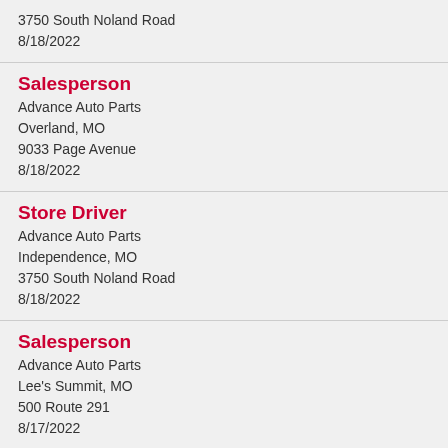3750 South Noland Road
8/18/2022
Salesperson
Advance Auto Parts
Overland, MO
9033 Page Avenue
8/18/2022
Store Driver
Advance Auto Parts
Independence, MO
3750 South Noland Road
8/18/2022
Salesperson
Advance Auto Parts
Lee's Summit, MO
500 Route 291
8/17/2022
Store Driver
Advance Auto Parts
Independence, MO
3750 South Noland Road